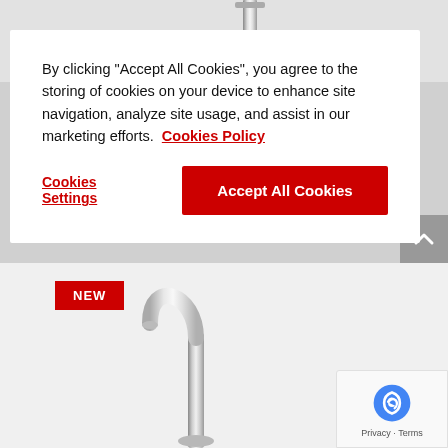[Figure (photo): Chrome faucet/tap product image visible at top of page behind cookie dialog]
By clicking "Accept All Cookies", you agree to the storing of cookies on your device to enhance site navigation, analyze site usage, and assist in our marketing efforts.  Cookies Policy
Cookies Settings
Accept All Cookies
[Figure (photo): Chrome kitchen faucet with tall gooseneck spout, NEW badge in red top-left]
[Figure (other): reCAPTCHA badge with Google logo, Privacy and Terms links]